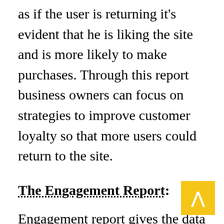as if the user is returning it's evident that he is liking the site and is more likely to make purchases. Through this report business owners can focus on strategies to improve customer loyalty so that more users could return to the site.
The Engagement Report:
Engagement report gives the data that shows the amount of time that users spends on the site. It not only shows the time but also the amount of data accessed by the user by showing the no. of pages viewed. Time duration is shown in seconds. There can be